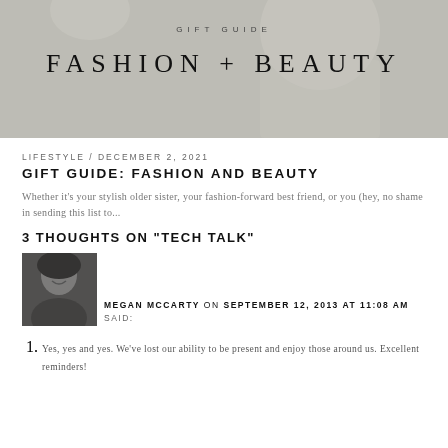[Figure (photo): Hero image of a woman in a floral dress holding a white box/book, overlaid with text 'GIFT GUIDE' and 'FASHION + BEAUTY' in large spaced letters. Image is in muted gray tones.]
LIFESTYLE / DECEMBER 2, 2021
GIFT GUIDE: FASHION AND BEAUTY
Whether it's your stylish older sister, your fashion-forward best friend, or you (hey, no shame in sending this list to...
3 THOUGHTS ON "TECH TALK"
[Figure (photo): Black and white portrait photo of Megan McCarty, a woman with long dark hair, smiling, in an outdoor crowd setting.]
MEGAN MCCARTY ON SEPTEMBER 12, 2013 AT 11:08 AM SAID:
Yes, yes and yes. We've lost our ability to be present and enjoy those around us. Excellent reminders!